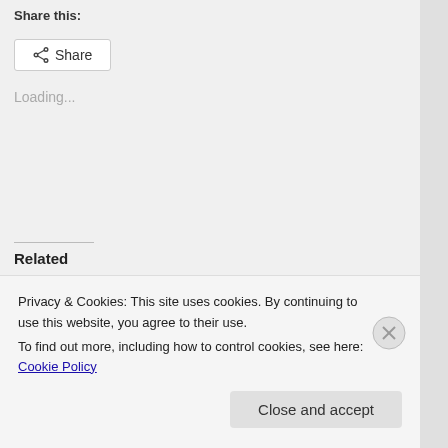Share this:
[Figure (other): Share button with share icon]
Loading...
Related
Straw and Rifkind – the scandal we deserved
February 26, 2015
Election expenses – you can't prosecute someone if they haven't broken any
Privacy & Cookies: This site uses cookies. By continuing to use this website, you agree to their use.
To find out more, including how to control cookies, see here: Cookie Policy
Close and accept